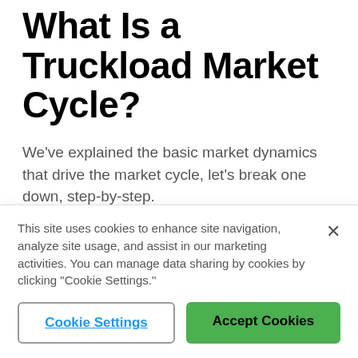What Is a Truckload Market Cycle?
We've explained the basic market dynamics that drive the market cycle, let's break one down, step-by-step.
7 Steps of a Market Capacity Cycle
This site uses cookies to enhance site navigation, analyze site usage, and assist in our marketing activities. You can manage data sharing by cookies by clicking "Cookie Settings."